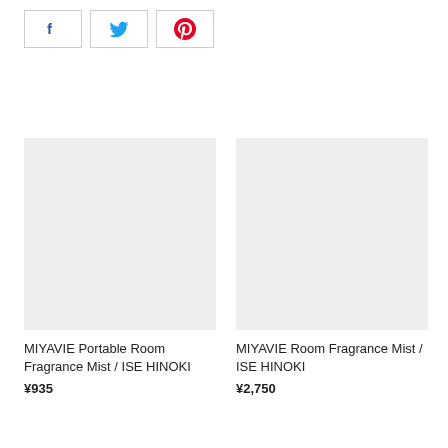[Figure (other): Social share buttons: Facebook (blue f icon), Twitter (blue bird icon), Pinterest (red P icon), each in a bordered box]
[Figure (photo): Product image placeholder for MIYAVIE Portable Room Fragrance Mist / ISE HINOKI - light gray rectangle]
MIYAVIE Portable Room Fragrance Mist / ISE HINOKI
¥935
[Figure (photo): Product image placeholder for MIYAVIE Room Fragrance Mist / ISE HINOKI - light gray rectangle]
MIYAVIE Room Fragrance Mist / ISE HINOKI
¥2,750